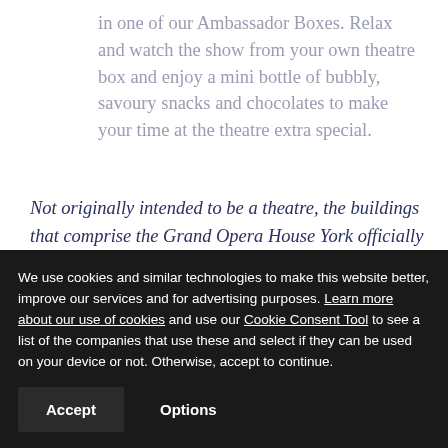in one of our Ambassador Boxes. Relax and watch the show from your own theatre box and enjoy a mini bottle of bubbly, savoury snacks and chocolates to make your time at the theatre extra special.
Not originally intended to be a theatre, the buildings that comprise the Grand Opera House York officially opened in 1902 with Little Red Riding Hood starring Florrie Ford. Since then it has been
We use cookies and similar technologies to make this website better, improve our services and for advertising purposes. Learn more about our use of cookies and use our Cookie Consent Tool to see a list of the companies that use these and select if they can be used on your device or not. Otherwise, accept to continue.